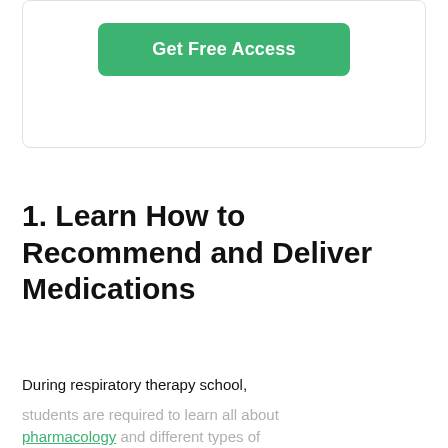[Figure (other): A rounded card box containing a green 'Get Free Access' button]
1. Learn How to Recommend and Deliver Medications
During respiratory therapy school,
students are required to learn all about
pharmacology and different types of